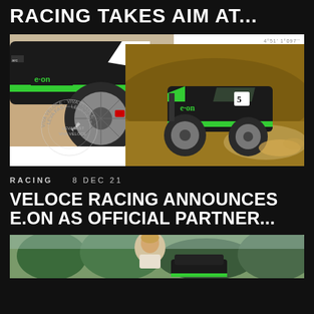RACING TAKES AIM AT...
[Figure (photo): Two photos of a black and green e.on racing off-road car (Veloce Racing). Left photo shows close-up of the front wheel and body. Right photo shows the car racing on a dirt track kicking up dust. A circular stamp watermark is visible in the lower left area. GPS coordinates visible top right.]
RACING   8 DEC 21
VELOCE RACING ANNOUNCES E.ON AS OFFICIAL PARTNER...
[Figure (photo): Partial photo at bottom showing a person (presumably a racing driver) outdoors with greenery in background.]